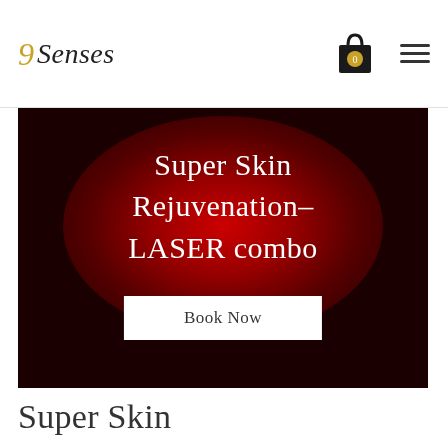9 Senses
[Figure (illustration): Dark background hero banner with red radial glow, white text reading 'Super Skin Rejuvenation- LASER combo' and a white 'Book Now' button]
Super Skin Rejuvenation-